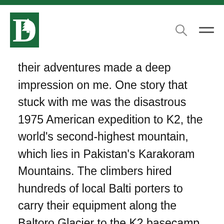Dartmouth logo, search icon, menu icon
their adventures made a deep impression on me. One story that stuck with me was the disastrous 1975 American expedition to K2, the world's second-highest mountain, which lies in Pakistan's Karakoram Mountains. The climbers hired hundreds of local Balti porters to carry their equipment along the Baltoro Glacier to the K2 basecamp. Noting the opportunity, all the porters went on strike half-way through on a favor to